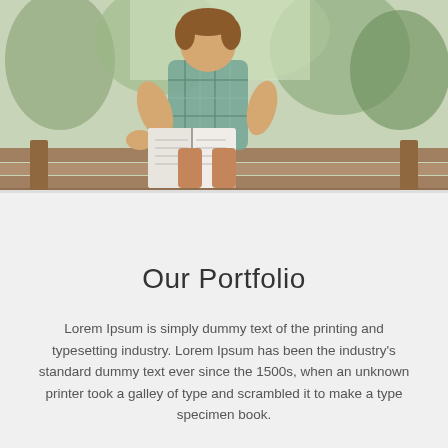[Figure (photo): A child sitting on a wooden bench outdoors, reading an open book, wearing a plaid short-sleeve shirt, with trees and sunlight in the background.]
Our Portfolio
Lorem Ipsum is simply dummy text of the printing and typesetting industry. Lorem Ipsum has been the industry's standard dummy text ever since the 1500s, when an unknown printer took a galley of type and scrambled it to make a type specimen book.